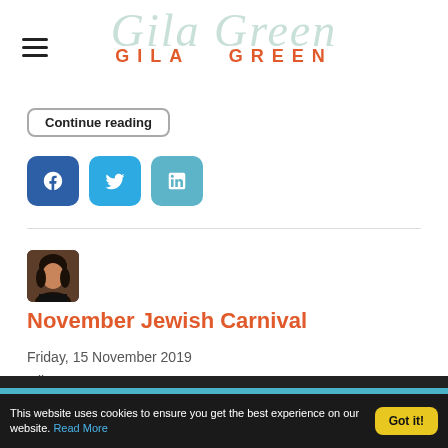Gila Green — GILA GREEN (site logo/header)
Continue reading
[Figure (other): Social share buttons: Facebook, Twitter, LinkedIn]
[Figure (photo): Author avatar photo of Gila Green]
November Jewish Carnival
Friday, 15 November 2019
Gila Green
This website uses cookies to ensure you get the best experience on our website. Read More   Got it!